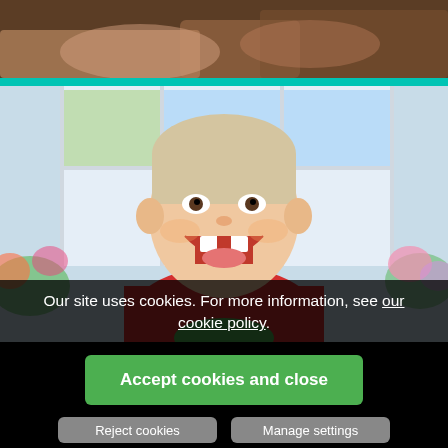[Figure (photo): Top portion of a photo showing hands, partially visible, dark tones]
[Figure (photo): A smiling young girl with missing front teeth, wearing a red patterned top, sitting in front of a window with flowers and greenery around her]
Our site uses cookies. For more information, see our cookie policy.
Accept cookies and close
Reject cookies
Manage settings